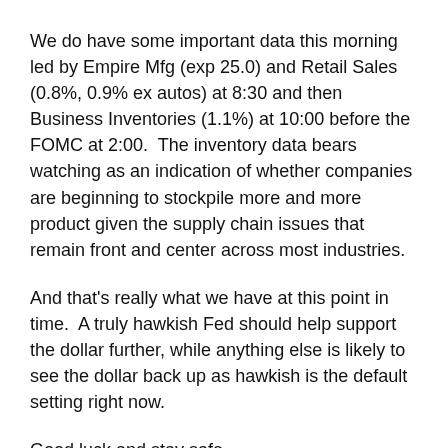We do have some important data this morning led by Empire Mfg (exp 25.0) and Retail Sales (0.8%, 0.9% ex autos) at 8:30 and then Business Inventories (1.1%) at 10:00 before the FOMC at 2:00.  The inventory data bears watching as an indication of whether companies are beginning to stockpile more and more product given the supply chain issues that remain front and center across most industries.
And that's really what we have at this point in time.  A truly hawkish Fed should help support the dollar further, while anything else is likely to see the dollar back up as hawkish is the default setting right now.
Good luck and stay safe
Adf